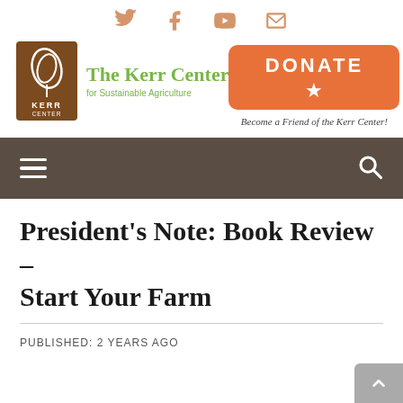[Figure (logo): Social media icons bar: Twitter, Facebook, YouTube, Email in orange/salmon color]
[Figure (logo): The Kerr Center for Sustainable Agriculture logo with brown leaf icon and green text]
[Figure (other): Orange DONATE button with star icon and text 'Become a Friend of the Kerr Center!' below]
[Figure (other): Dark brown navigation bar with hamburger menu icon on left and search icon on right]
President's Note: Book Review – Start Your Farm
PUBLISHED: 2 YEARS AGO